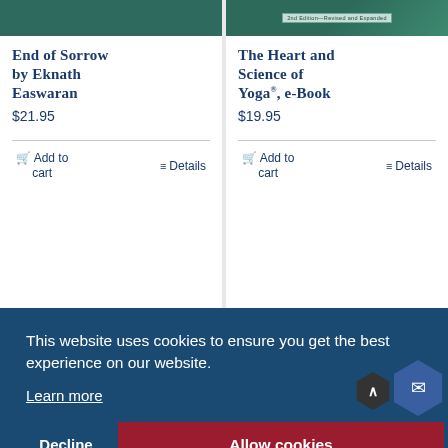End of Sorrow by Eknath Easwaran
$21.95
Add to cart
Details
The Heart and Science of Yoga®, e-Book
$19.95
Add to cart
Details
This website uses cookies to ensure you get the best experience on our website.
Learn more
Decline
Allow cookies